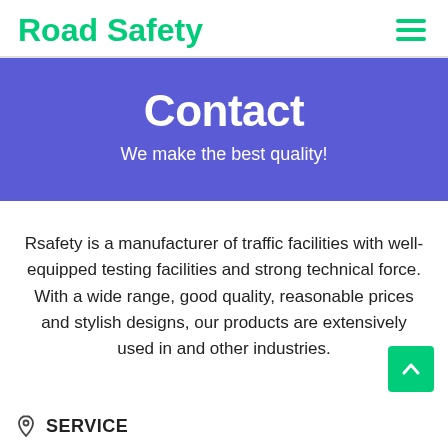Road Safety
Contact
We make the best quality!
Rsafety is a manufacturer of traffic facilities with well-equipped testing facilities and strong technical force. With a wide range, good quality, reasonable prices and stylish designs, our products are extensively used in and other industries.
SERVICE